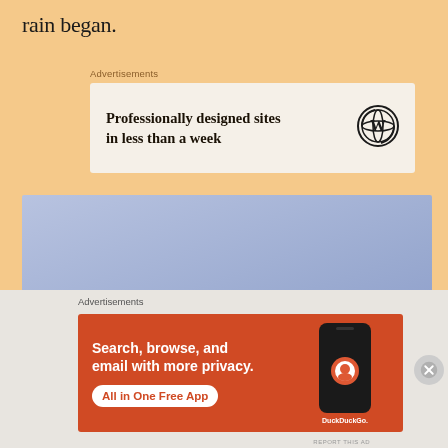rain began.
[Figure (screenshot): WordPress advertisement: 'Professionally designed sites in less than a week' with WordPress logo]
[Figure (screenshot): Blue/lavender colored advertisement placeholder block]
[Figure (screenshot): DuckDuckGo advertisement: 'Search, browse, and email with more privacy. All in One Free App' with phone graphic and DuckDuckGo logo]